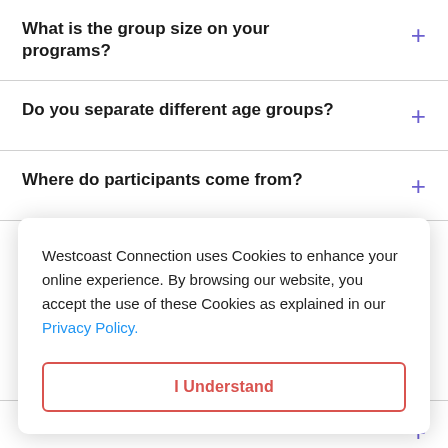What is the group size on your programs?
Do you separate different age groups?
Where do participants come from?
Do you host get-togethers before the
Westcoast Connection uses Cookies to enhance your online experience. By browsing our website, you accept the use of these Cookies as explained in our Privacy Policy.
I Understand
What if I get sick while on the program?